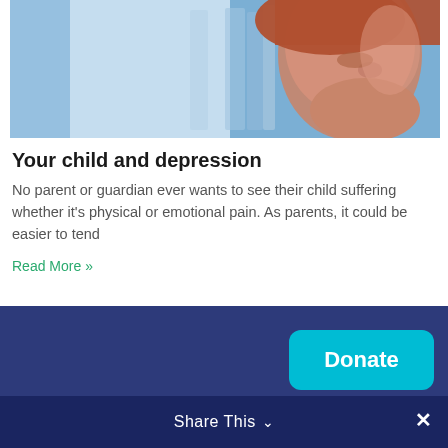[Figure (photo): A child with red hair bowing head, appearing sad or stressed, with a blue background and blurred books or papers visible]
Your child and depression
No parent or guardian ever wants to see their child suffering whether it's physical or emotional pain. As parents, it could be easier to tend
Read More »
Share This ∨